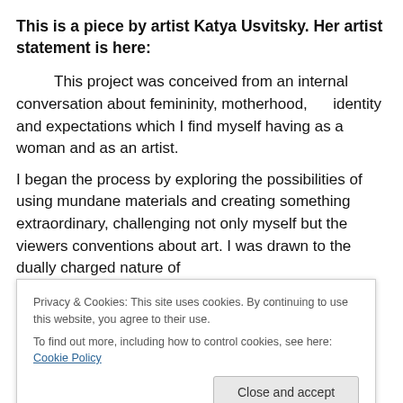This is a piece by artist Katya Usvitsky. Her artist statement is here:
This project was conceived from an internal conversation about femininity, motherhood,      identity and expectations which I find myself having as a woman and as an artist.
I began the process by exploring the possibilities of using mundane materials and creating something extraordinary, challenging not only myself but the viewers conventions about art. I was drawn to the dually charged nature of
Privacy & Cookies: This site uses cookies. By continuing to use this website, you agree to their use.
To find out more, including how to control cookies, see here: Cookie Policy
a conversation. By creating abstracted forms that are at